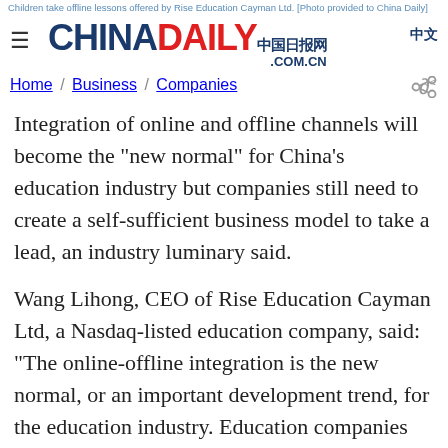Children take offline lessons offered by Rise Education Cayman Ltd. [Photo provided to China Daily]
CHINADAILY 中国日报网 .COM.CN 中文
Home / Business / Companies
Integration of online and offline channels will become the "new normal" for China's education industry but companies still need to create a self-sufficient business model to take a lead, an industry luminary said.
Wang Lihong, CEO of Rise Education Cayman Ltd, a Nasdaq-listed education company, said: "The online-offline integration is the new normal, or an important development trend, for the education industry. Education companies without online capabilities will find it more difficult to survive in the future.
"But the education industry itself has different goals and not all goals can be achieved online. Online education ha...